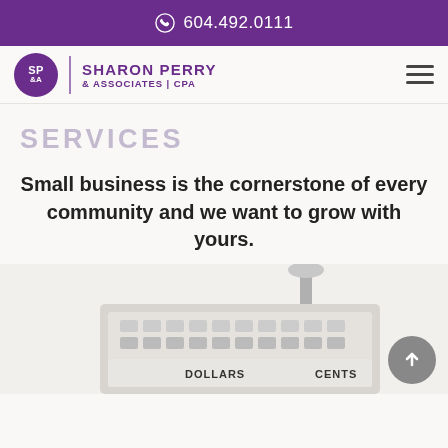604.492.0111
[Figure (logo): Sharon Perry & Associates | CPA logo with purple circle SP&A and text]
SERVICES
Small business is the cornerstone of every community and we want to grow with yours.
[Figure (photo): Close-up of a cash register or coin counting machine showing DOLLARS CENTS labels]